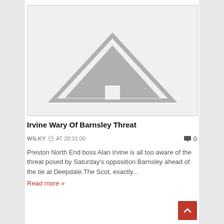[Figure (illustration): Placeholder image with grey background and a grey triangle/mountain icon in the center lower portion]
Irvine Wary Of Barnsley Threat
WILKY  AT 20:31:00    0
Preston North End boss Alan Irvine is all too aware of the threat posed by Saturday's opposition Barnsley ahead of the tie at Deepdale.The Scot, exactly...
Read more »